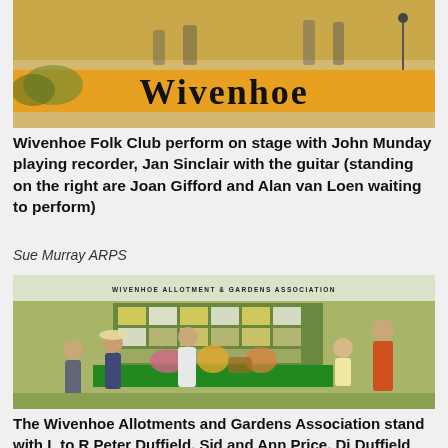[Figure (photo): Wivenhoe Folk Club performing on stage with a large orange banner reading 'Wivenhoe' across the front of the stage. Musicians are visible on stage.]
Wivenhoe Folk Club perform on stage with John Munday playing recorder, Jan Sinclair with the guitar (standing on the right are Joan Gifford and Alan van Loen waiting to perform)
Sue Murray ARPS
[Figure (photo): The Wivenhoe Allotments and Gardens Association stand inside a tent with a green-covered table, floral displays, and a display board. Several people are seated and standing around the stand.]
The Wivenhoe Allotments and Gardens Association stand with L to R Peter Duffield, Sid and Ann Price, Di Duffield and